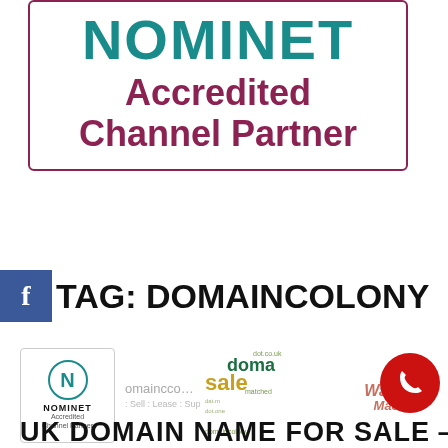[Figure (logo): Nominet Accredited Channel Partner badge with teal NOMINET text and dark red 'Accredited Channel Partner' text inside a dark red bordered box]
TAG: DOMAINCOLONY
[Figure (illustration): Row of logos: Nominet Accredited Channel Partner small logo, partial DomainColony text logo, word cloud with sale/domain/dot.co.uk/matched/domaincolony, WayBack Machine text logo, red phone circle button]
UK DOMAIN NAME FOR SALE —